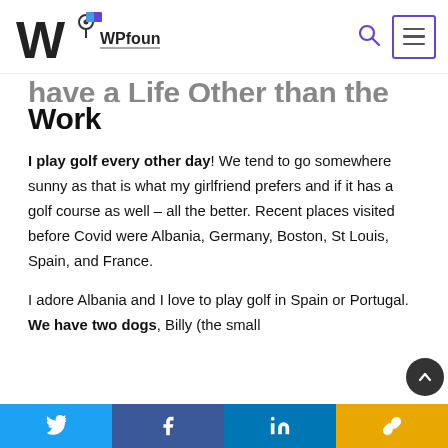[Figure (logo): WPfounders logo with stylized W and flag icon]
Have a Life Other than the Work
I play golf every other day! We tend to go somewhere sunny as that is what my girlfriend prefers and if it has a golf course as well – all the better. Recent places visited before Covid were Albania, Germany, Boston, St Louis, Spain, and France.
I adore Albania and I love to play golf in Spain or Portugal. We have two dogs, Billy (the small...